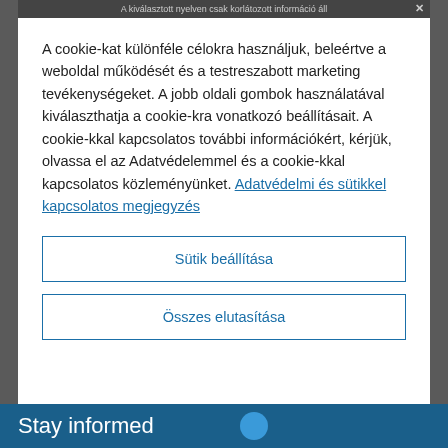A kiválasztott nyelven csak korlátozott információ áll
A cookie-kat különféle célokra használjuk, beleértve a weboldal működését és a testreszabott marketing tevékenységeket. A jobb oldali gombok használatával kiválaszthatja a cookie-kra vonatkozó beállításait. A cookie-kkal kapcsolatos további információkért, kérjük, olvassa el az Adatvédelemmel és a cookie-kkal kapcsolatos közleményünket. Adatvédelmi és sütikkel kapcsolatos megjegyzés
Sütik beállítása
Összes elutasítása
Stay informed